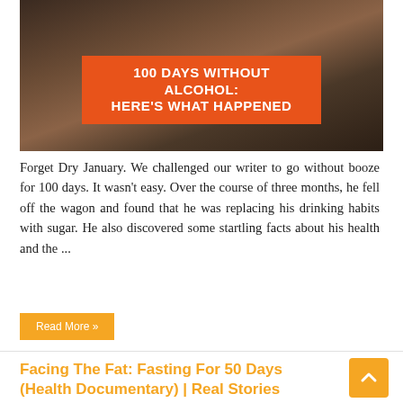[Figure (photo): A man in a bar or kitchen setting, with an orange overlay banner reading '100 DAYS WITHOUT ALCOHOL: HERE'S WHAT HAPPENED']
Forget Dry January. We challenged our writer to go without booze for 100 days. It wasn't easy. Over the course of three months, he fell off the wagon and found that he was replacing his drinking habits with sugar. He also discovered some startling facts about his health and the ...
Read More »
Facing The Fat: Fasting For 50 Days (Health Documentary) | Real Stories